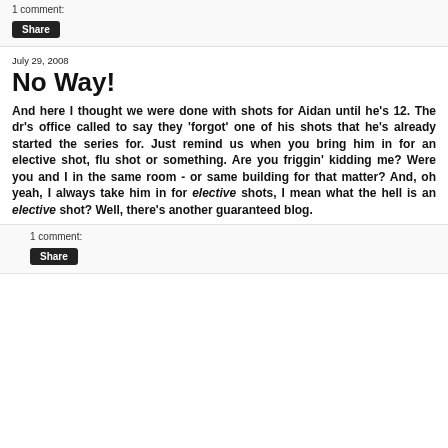1 comment:
Share
July 29, 2008
No Way!
And here I thought we were done with shots for Aidan until he's 12. The dr's office called to say they 'forgot' one of his shots that he's already started the series for. Just remind us when you bring him in for an elective shot, flu shot or something. Are you friggin' kidding me? Were you and I in the same room - or same building for that matter? And, oh yeah, I always take him in for elective shots, I mean what the hell is an elective shot? Well, there's another guaranteed blog.
1 comment:
Share